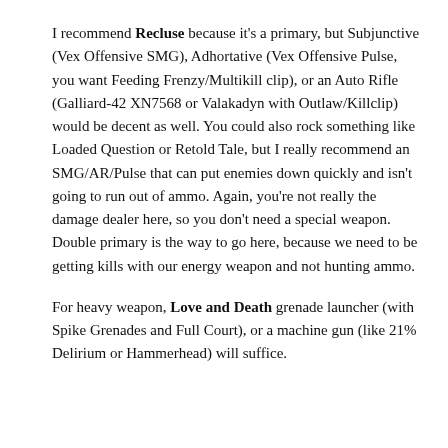I recommend Recluse because it's a primary, but Subjunctive (Vex Offensive SMG), Adhortative (Vex Offensive Pulse, you want Feeding Frenzy/Multikill clip), or an Auto Rifle (Galliard-42 XN7568 or Valakadyn with Outlaw/Killclip) would be decent as well. You could also rock something like Loaded Question or Retold Tale, but I really recommend an SMG/AR/Pulse that can put enemies down quickly and isn't going to run out of ammo. Again, you're not really the damage dealer here, so you don't need a special weapon. Double primary is the way to go here, because we need to be getting kills with our energy weapon and not hunting ammo.
For heavy weapon, Love and Death grenade launcher (with Spike Grenades and Full Court), or a machine gun (like 21% Delirium or Hammerhead) will suffice.